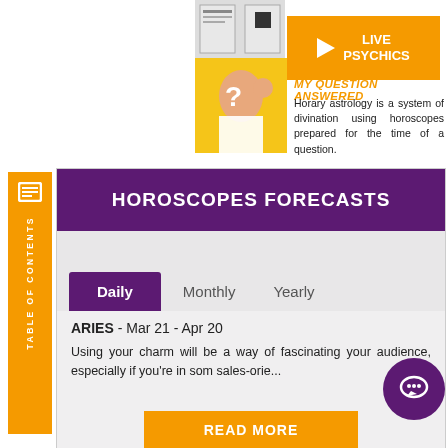[Figure (photo): Small document/card thumbnails in upper area]
[Figure (other): Orange LIVE PSYCHICS play button]
[Figure (photo): Woman with question mark thinking pose on yellow background]
MY QUESTION ANSWERED
Horary astrology is a system of divination using horoscopes prepared for the time of a question.
[Figure (other): Sidebar with TABLE OF CONTENTS label and icon]
HOROSCOPES FORECASTS
[Figure (screenshot): Tab bar with Daily (active/purple), Monthly, Yearly tabs]
ARIES - Mar 21 - Apr 20
Using your charm will be a way of fascinating your audience, especially if you're in som sales-orie...
[Figure (other): READ MORE orange button]
[Figure (other): Purple chat bubble icon bottom right]